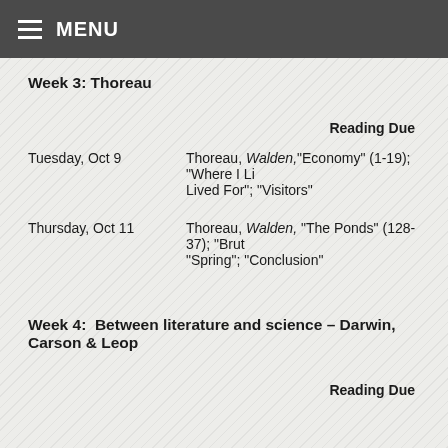MENU
Week 3: Thoreau
Reading Due
Tuesday, Oct 9 — Thoreau, Walden, "Economy" (1-19); "Where I Lived For"; "Visitors"
Thursday, Oct 11 — Thoreau, Walden, "The Ponds" (128-37); "Brut..."; "Spring"; "Conclusion"
Week 4:  Between literature and science – Darwin, Carson & Leop...
Reading Due